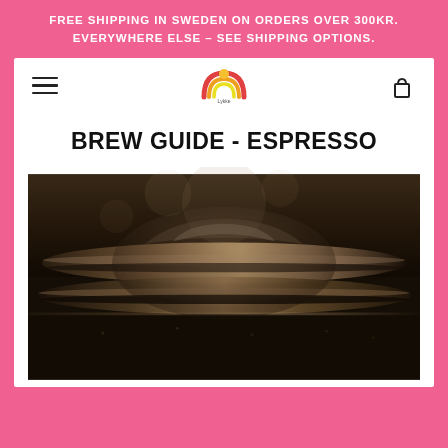FREE SHIPPING IN SWEDEN ON ORDERS OVER 300KR. EVERYWHERE ELSE – SEE SHIPPING OPTIONS.
[Figure (logo): Rainbow/arch logo for Lykke Kafferisterie with hamburger menu icon on left and cart icon on right]
BREW GUIDE - ESPRESSO
[Figure (photo): Close-up dark photo of an espresso machine portafilter with coffee grounds, metallic rings visible]